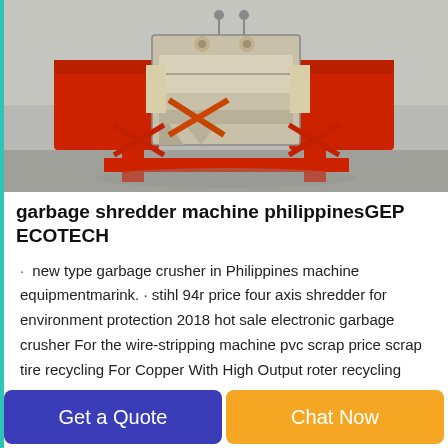[Figure (photo): Industrial garbage shredder machine with red metal frame and body, shown outdoors on a concrete surface. The machine has wide red side hoppers and a grey/beige central section with rollers and bolts visible on top.]
garbage shredder machine philippinesGEP ECOTECH
· new type garbage crusher in Philippines machine equipmentmarink. · stihl 94r price four axis shredder for environment protection 2018 hot sale electronic garbage crusher For the wire-stripping machine pvc scrap price scrap tire recycling For Copper With High Output roter recycling
Get a Quote
Chat Now